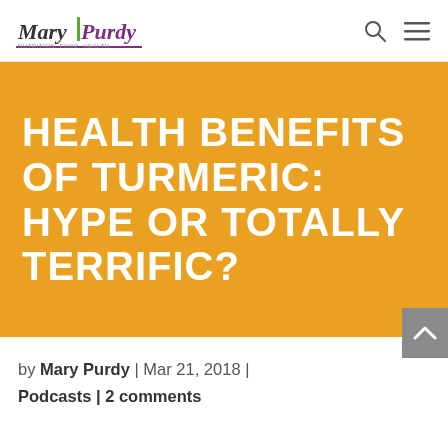Mary Purdy [logo]
[Figure (illustration): Mary Purdy logo with stylized text and green/purple colors, search icon, and hamburger menu icon in header]
HEALTH BENEFITS OF TURMERIC: HYPE OR TOTALLY TERRIFIC?
by Mary Purdy | Mar 21, 2018 | Podcasts | 2 comments